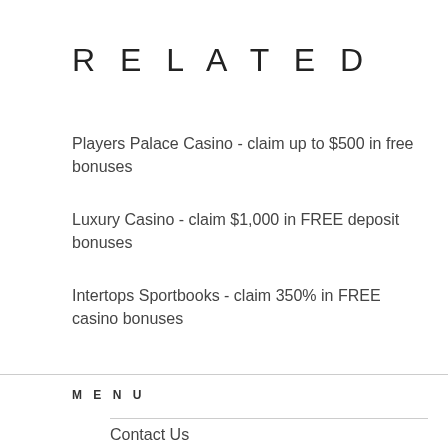RELATED
Players Palace Casino - claim up to $500 in free bonuses
Luxury Casino - claim $1,000 in FREE deposit bonuses
Intertops Sportbooks - claim 350% in FREE casino bonuses
MENU
Contact Us